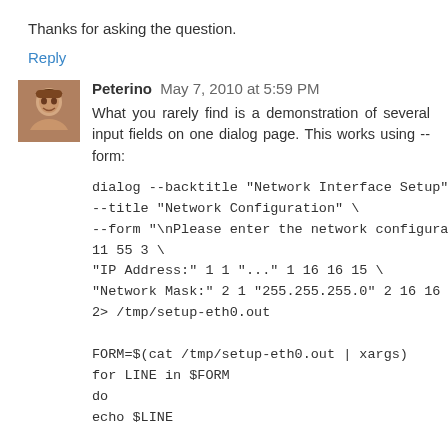Thanks for asking the question.
Reply
Peterino  May 7, 2010 at 5:59 PM
What you rarely find is a demonstration of several input fields on one dialog page. This works using --form:
dialog --backtitle "Network Interface Setup" \
--title "Network Configuration" \
--form "\nPlease enter the network configuration for eth0:" 11 55 3 \
"IP Address:" 1 1 "..." 1 16 16 15 \
"Network Mask:" 2 1 "255.255.255.0" 2 16 16 15 \
2> /tmp/setup-eth0.out

FORM=$(cat /tmp/setup-eth0.out | xargs)
for LINE in $FORM
do
echo $LINE